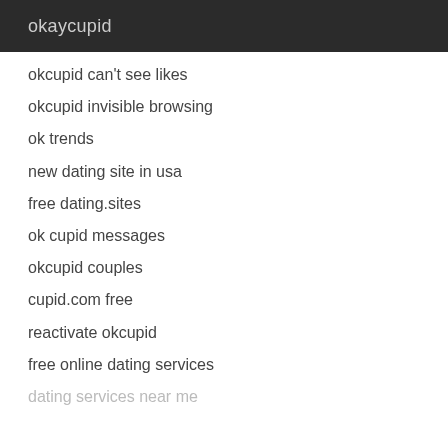okaycupid
okcupid can't see likes
okcupid invisible browsing
ok trends
new dating site in usa
free dating.sites
ok cupid messages
okcupid couples
cupid.com free
reactivate okcupid
free online dating services
dating services near me